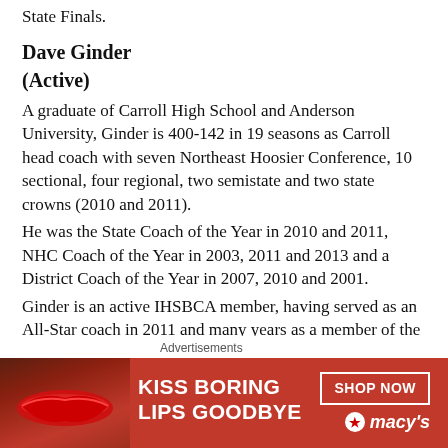State Finals.
Dave Ginder
(Active)
A graduate of Carroll High School and Anderson University, Ginder is 400-142 in 19 seasons as Carroll head coach with seven Northeast Hoosier Conference, 10 sectional, four regional, two semistate and two state crowns (2010 and 2011).
He was the State Coach of the Year in 2010 and 2011, NHC Coach of the Year in 2003, 2011 and 2013 and a District Coach of the Year in 2007, 2010 and 2001.
Ginder is an active IHSBCA member, having served as an All-Star coach in 2011 and many years as a member of the 4A poll panel. He has also been involved in many local baseball camps and clinics and is member of the American Baseball Coaches
[Figure (advertisement): Macy's advertisement banner: KISS BORING LIPS GOODBYE with SHOP NOW button and Macy's logo]